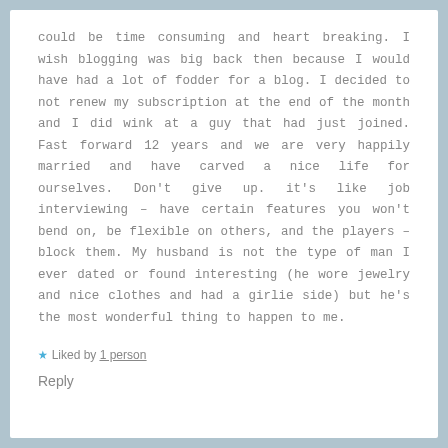could be time consuming and heart breaking. I wish blogging was big back then because I would have had a lot of fodder for a blog. I decided to not renew my subscription at the end of the month and I did wink at a guy that had just joined. Fast forward 12 years and we are very happily married and have carved a nice life for ourselves. Don't give up. it's like job interviewing – have certain features you won't bend on, be flexible on others, and the players – block them. My husband is not the type of man I ever dated or found interesting (he wore jewelry and nice clothes and had a girlie side) but he's the most wonderful thing to happen to me.
★ Liked by 1 person
Reply